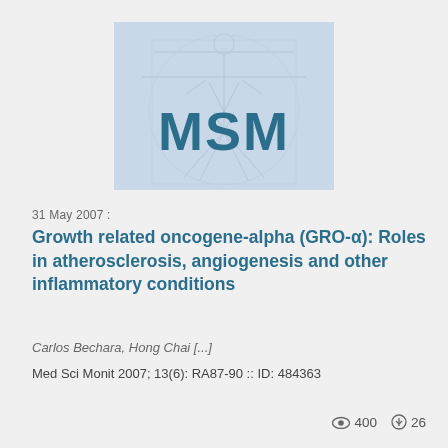[Figure (logo): MSM journal logo — Vitruvian Man sketch with large 'MSM' letters in dark teal/blue on a light blue background]
31 May 2007 :
Growth related oncogene-alpha (GRO-α): Roles in atherosclerosis, angiogenesis and other inflammatory conditions
Carlos Bechara, Hong Chai [...]
Med Sci Monit 2007; 13(6): RA87-90 :: ID: 484363
400  26